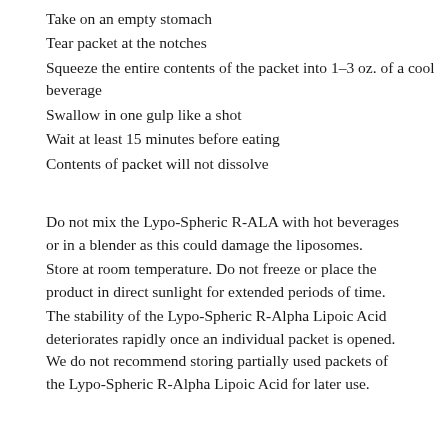Take on an empty stomach
Tear packet at the notches
Squeeze the entire contents of the packet into 1–3 oz. of a cool beverage
Swallow in one gulp like a shot
Wait at least 15 minutes before eating
Contents of packet will not dissolve
Do not mix the Lypo-Spheric R-ALA with hot beverages or in a blender as this could damage the liposomes.
Store at room temperature. Do not freeze or place the product in direct sunlight for extended periods of time.
The stability of the Lypo-Spheric R-Alpha Lipoic Acid deteriorates rapidly once an individual packet is opened. We do not recommend storing partially used packets of the Lypo-Spheric R-Alpha Lipoic Acid for later use.